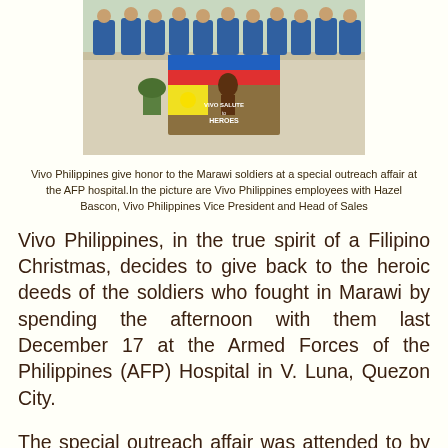[Figure (photo): Group of Vivo Philippines employees in blue shirts standing on a rooftop or balcony, holding a banner that reads 'VIVO SALUTE to HEROES' with a Philippine flag on it.]
Vivo Philippines give honor to the Marawi soldiers at a special outreach affair at the AFP hospital.In the picture are Vivo Philippines employees with Hazel Bascon, Vivo Philippines Vice President and Head of Sales
Vivo Philippines, in the true spirit of a Filipino Christmas, decides to give back to the heroic deeds of the soldiers who fought in Marawi by spending the afternoon with them last December 17 at the Armed Forces of the Philippines (AFP) Hospital in V. Luna, Quezon City.
The special outreach affair was attended to by Vivo employee-volunteers who interacted with the 150 soldiers and their families and entertained them with